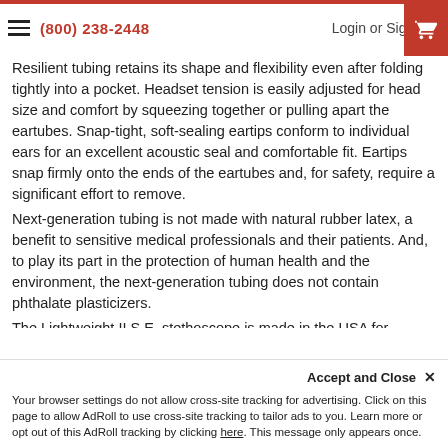(800) 238-2448  Login or Sign Up
Resilient tubing retains its shape and flexibility even after folding tightly into a pocket. Headset tension is easily adjusted for head size and comfort by squeezing together or pulling apart the eartubes. Snap-tight, soft-sealing eartips conform to individual ears for an excellent acoustic seal and comfortable fit. Eartips snap firmly onto the ends of the eartubes and, for safety, require a significant effort to remove.
Next-generation tubing is not made with natural rubber latex, a benefit to sensitive medical professionals and their patients. And, to play its part in the protection of human health and the environment, the next-generation tubing does not contain phthalate plasticizers.
The Lightweight II S.E. stethoscope is made in the USA for consistent quality. It comes complete with large soft-sealing eartips and instructions.
3M Littmann Stethoscopes are used by millions of medical professionals around the world who are dedicated to achieving the best patient outcomes. Littmann stethoscopes offer such acoustic
Accept and Close ×
Your browser settings do not allow cross-site tracking for advertising. Click on this page to allow AdRoll to use cross-site tracking to tailor ads to you. Learn more or opt out of this AdRoll tracking by clicking here. This message only appears once.